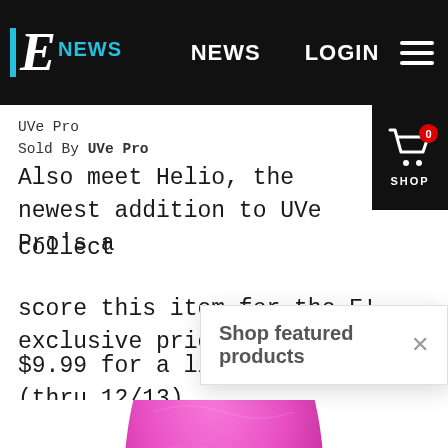E! NEWS  NEWS  LOGIN
UVe Pro
Sold By UVe Pro
Also meet Helio, the newest addition to UVe Pro's collection... score this item for the E! exclusive price of $9.99 for a limited time (thru 12/13).
[Figure (screenshot): Shop featured products modal popup with close X button]
[Figure (photo): Pink pointed makeup sponge/blender product photo]